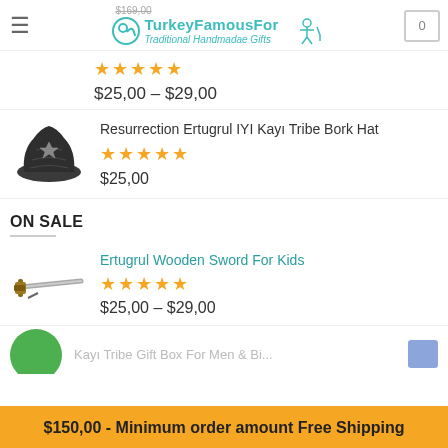TurkeyFamousFor - Traditional Handmade Gifts
$25,00 – $29,00
Resurrection Ertugrul IYI Kayı Tribe Bork Hat
$25,00
ON SALE
Ertugrul Wooden Sword For Kids
$25,00 – $29,00
Kayı Tribe Gift Box For Men & Bi...
$150,00 - Minimum order amount Free Shipping